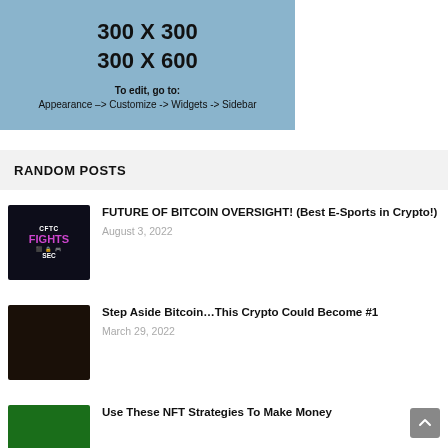[Figure (other): Advertisement placeholder box showing '300 X 300 / 300 X 600' with instructions 'To edit, go to: Appearance -> Customize -> Widgets -> Sidebar']
RANDOM POSTS
[Figure (photo): Thumbnail for CFTC FIGHTS SEC Bitcoin video with lock icon and crypto symbols]
FUTURE OF BITCOIN OVERSIGHT! (Best E-Sports in Crypto!)
August 3, 2022
[Figure (photo): Thumbnail showing a man against a dark background]
Step Aside Bitcoin...This Crypto Could Become #1
March 29, 2022
[Figure (photo): Thumbnail with green background showing 'TOP U...' text]
Use These NFT Strategies To Make Money